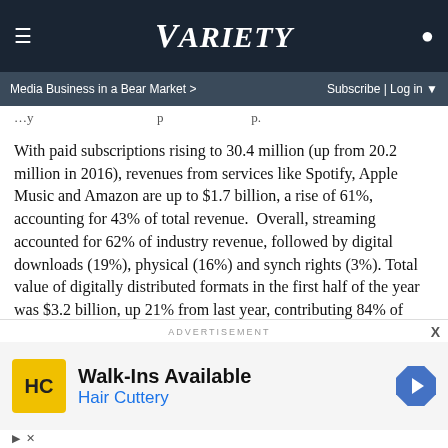VARIETY — Media Business in a Bear Market > | Subscribe | Log in
With paid subscriptions rising to 30.4 million (up from 20.2 million in 2016), revenues from services like Spotify, Apple Music and Amazon are up to $1.7 billion, a rise of 61%, accounting for 43% of total revenue. Overall, streaming accounted for 62% of industry revenue, followed by digital downloads (19%), physical (16%) and synch rights (3%). Total value of digitally distributed formats in the first half of the year was $3.2 billion, up 21% from last year, contributing 84% of total industry value.
[Figure (other): Advertisement: Walk-Ins Available – Hair Cuttery, with HC logo and navigation arrow icon]